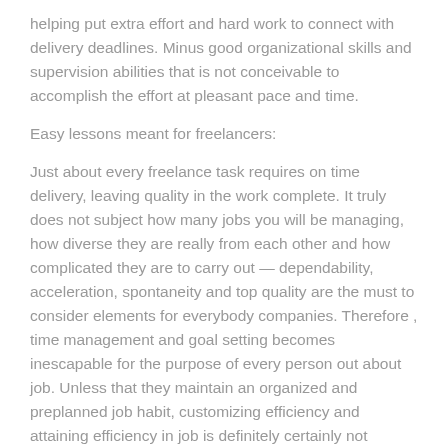helping put extra effort and hard work to connect with delivery deadlines. Minus good organizational skills and supervision abilities that is not conceivable to accomplish the effort at pleasant pace and time.
Easy lessons meant for freelancers:
Just about every freelance task requires on time delivery, leaving quality in the work complete. It truly does not subject how many jobs you will be managing, how diverse they are really from each other and how complicated they are to carry out — dependability, acceleration, spontaneity and top quality are the must to consider elements for everybody companies. Therefore , time management and goal setting becomes inescapable for the purpose of every person out about job. Unless that they maintain an organized and preplanned job habit, customizing efficiency and attaining efficiency in job is definitely certainly not possible. Self employed too have got a friendly life and they should retain work-life harmony. If you are a new comer to freelance careers market, it is crucial that you find out job administration skills well. Studying away freelancer's success scenario, pursuing their particular as well as advices would be of